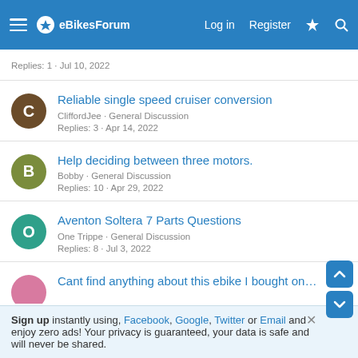eBikesForum — Log in · Register
Replies: 1 · Jul 10, 2022
Reliable single speed cruiser conversion
CliffordJee · General Discussion
Replies: 3 · Apr 14, 2022
Help deciding between three motors.
Bobby · General Discussion
Replies: 10 · Apr 29, 2022
Aventon Soltera 7 Parts Questions
One Trippe · General Discussion
Replies: 8 · Jul 3, 2022
Cant find anything about this ebike I bought on…
Sign up instantly using, Facebook, Google, Twitter or Email and enjoy zero ads! Your privacy is guaranteed, your data is safe and will never be shared.